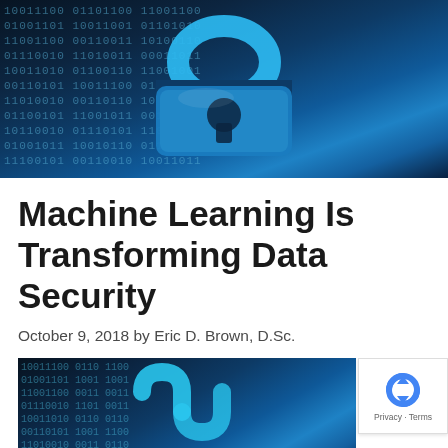[Figure (photo): A glowing blue digital padlock on a dark background covered with binary code (0s and 1s), representing data security and cybersecurity.]
Machine Learning Is Transforming Data Security
October 9, 2018 by Eric D. Brown, D.Sc.
[Figure (photo): A glowing blue digital lock/chain on a dark background covered with binary code, representing data security.]